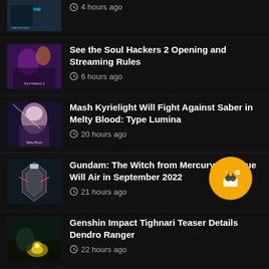4 hours ago (partial item, top)
See the Soul Hackers 2 Opening and Streaming Rules — 6 hours ago
Mash Kyrielight Will Fight Against Saber in Melty Blood: Type Lumina — 20 hours ago
Gundam: The Witch from Mercury Prologue Will Air in September 2022 — 21 hours ago
Genshin Impact Tighnari Teaser Details Dendro Ranger — 22 hours ago
Genshin Journey Through Pages Web Event Rewards Primogems for Exploration (partial)